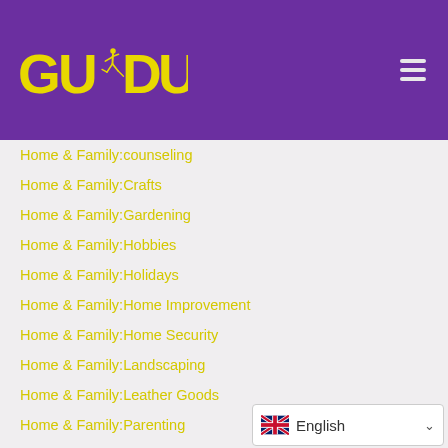GUDU logo and navigation menu
Home & Family:counseling
Home & Family:Crafts
Home & Family:Gardening
Home & Family:Hobbies
Home & Family:Holidays
Home & Family:Home Improvement
Home & Family:Home Security
Home & Family:Landscaping
Home & Family:Leather Goods
Home & Family:Parenting
Home & Family:Pets
Home & FamilyCrafts
Home & FamilyGard...
English